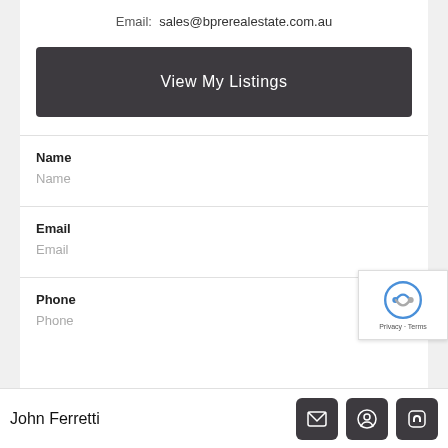Email:  sales@bprerealestate.com.au
View My Listings
Name
Name
Email
Email
Phone
Phone
John Ferretti
[Figure (screenshot): reCAPTCHA badge with logo, Privacy and Terms links]